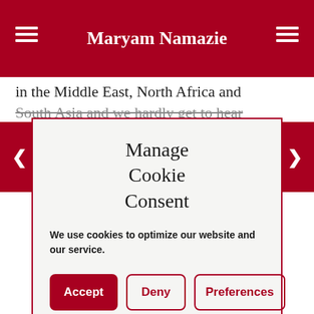Maryam Namazie
in the Middle East, North Africa and South Asia and we hardly get to hear
Manage Cookie Consent
We use cookies to optimize our website and our service.
Accept | Deny | Preferences
reason why these things happen. For me, I think, it’s not necessarily that they’re Muslim this is happening, it’s not necessarily that they’re refugees